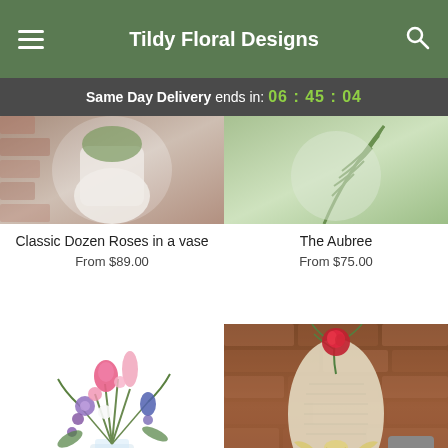Tildy Floral Designs
Same Day Delivery ends in: 06 : 45 : 04
[Figure (photo): Partial top view of Classic Dozen Roses in a vase, white vase, brick background]
[Figure (photo): Partial top view of The Aubree arrangement with ferns, light background]
Classic Dozen Roses in a vase
From $89.00
The Aubree
From $75.00
[Figure (photo): Colorful mixed flower bouquet in tall glass vase with pink, purple, and blue flowers]
[Figure (photo): Single red rose with greenery wrapped in lace/burlap against brick wall background]